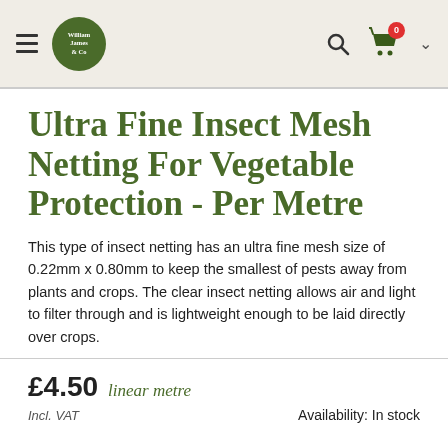William James & Co — navigation header with logo, search, and cart
Ultra Fine Insect Mesh Netting For Vegetable Protection - Per Metre
This type of insect netting has an ultra fine mesh size of 0.22mm x 0.80mm to keep the smallest of pests away from plants and crops. The clear insect netting allows air and light to filter through and is lightweight enough to be laid directly over crops.
£4.50 linear metre
Incl. VAT
Availability: In stock